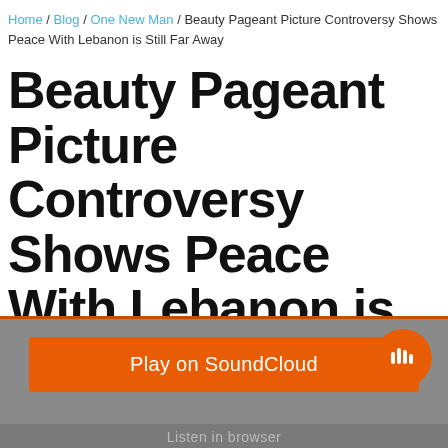Home / Blog / One New Man / Beauty Pageant Picture Controversy Shows Peace With Lebanon is Still Far Away
Beauty Pageant Picture Controversy Shows Peace With Lebanon is Still Far Away
February 9, 2015 by Curt Landry Ministries
[Figure (other): SoundCloud embedded audio player widget with orange Play on SoundCloud button and circular SoundCloud icon, gray background, Listen in browser bar at bottom]